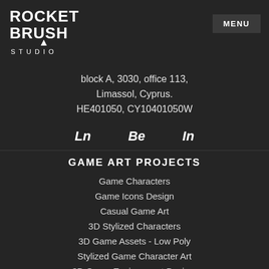[Figure (logo): Rocket Brush Studio logo — stylized text with icon]
MENU
block A, 3030, office 113, Limassol, Cyprus. HE401050, CY10401050W
Ln   Be   In
GAME ART PROJECTS
Game Characters
Game Icons Design
Casual Game Art
3D Stylized Characters
3D Game Assets - Low Poly
Stylized Game Character Art
3D Game Environment Desi...